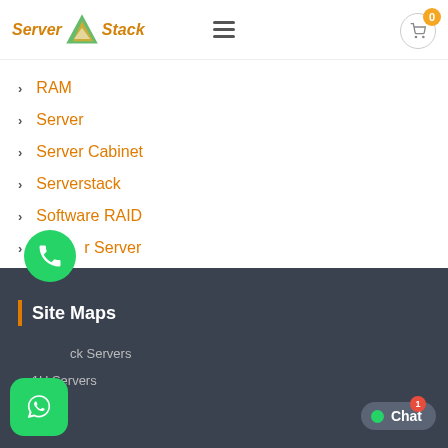Server Stack
RAM
Server
Server Cabinet
Serverstack
Software RAID
r Server
ategorized
Site Maps
ck Servers
1U Servers